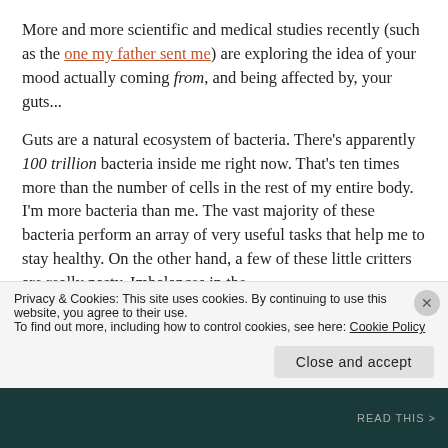More and more scientific and medical studies recently (such as the one my father sent me) are exploring the idea of your mood actually coming from, and being affected by, your guts...
Guts are a natural ecosystem of bacteria. There's apparently 100 trillion bacteria inside me right now. That's ten times more than the number of cells in the rest of my entire body. I'm more bacteria than me. The vast majority of these bacteria perform an array of very useful tasks that help me to stay healthy. On the other hand, a few of these little critters are really nasty. Imbalances in the
Privacy & Cookies: This site uses cookies. By continuing to use this website, you agree to their use.
To find out more, including how to control cookies, see here: Cookie Policy